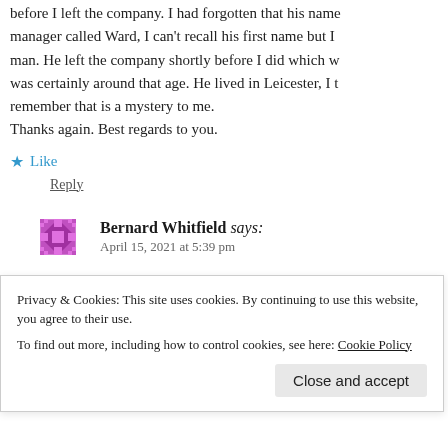before I left the company. I had forgotten that his name manager called Ward, I can't recall his first name but I man. He left the company shortly before I did which w was certainly around that age. He lived in Leicester, I t remember that is a mystery to me.
Thanks again. Best regards to you.
Like
Reply
Bernard Whitfield says:
April 15, 2021 at 5:39 pm
Hi
Privacy & Cookies: This site uses cookies. By continuing to use this website, you agree to their use.
To find out more, including how to control cookies, see here: Cookie Policy
Close and accept